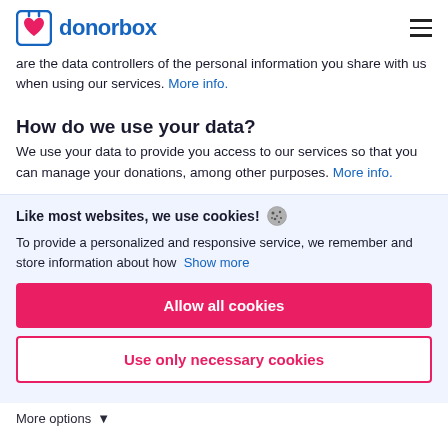donorbox
are the data controllers of the personal information you share with us when using our services. More info.
How do we use your data?
We use your data to provide you access to our services so that you can manage your donations, among other purposes. More info.
Like most websites, we use cookies! To provide a personalized and responsive service, we remember and store information about how Show more
Allow all cookies
Use only necessary cookies
More options